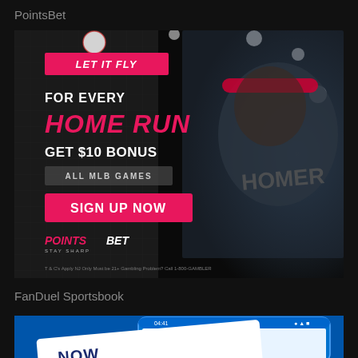PointsBet
[Figure (photo): PointsBet sports betting advertisement featuring a baseball player wearing a red headband and 'HOMER' jersey, smiling. Text overlay reads: LET IT FLY / FOR EVERY HOME RUN GET $10 BONUS / ALL MLB GAMES / SIGN UP NOW / POINTSBET STAY SHARP / T&Cs Apply NJ Only Must be 21+ Gambling Problem? Call 1-800-GAMBLER]
FanDuel Sportsbook
[Figure (photo): FanDuel Sportsbook advertisement showing a mobile phone with blue case and a white card displaying partial text 'NOW AVAI...' (Now Available)]